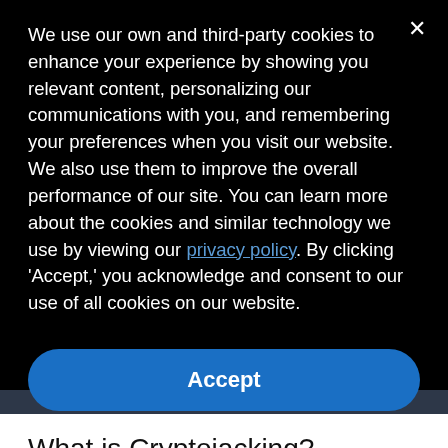We use our own and third-party cookies to enhance your experience by showing you relevant content, personalizing our communications with you, and remembering your preferences when you visit our website. We also use them to improve the overall performance of our site. You can learn more about the cookies and similar technology we use by viewing our privacy policy. By clicking 'Accept,' you acknowledge and consent to our use of all cookies on our website.
Accept
What is Cryptojacking?
Cryptojacking definition: Crypto-jacking is